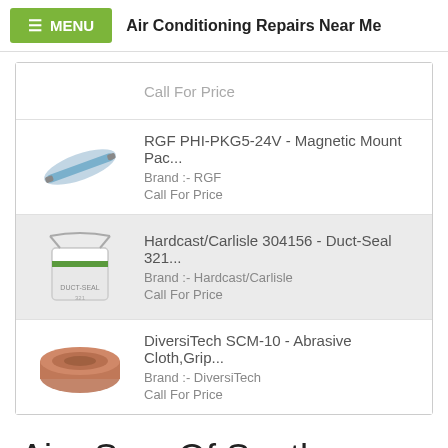MENU  Air Conditioning Repairs Near Me
Call For Price
RGF PHI-PKG5-24V - Magnetic Mount Pac...
Brand :- RGF
Call For Price
Hardcast/Carlisle 304156 - Duct-Seal 321...
Brand :- Hardcast/Carlisle
Call For Price
DiversiTech SCM-10 - Abrasive Cloth,Grip...
Brand :- DiversiTech
Call For Price
Aire Serv Of Southern New Mexico 924 W Di...